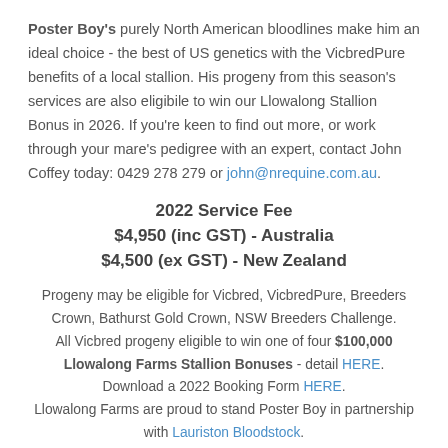Poster Boy's purely North American bloodlines make him an ideal choice - the best of US genetics with the VicbredPure benefits of a local stallion. His progeny from this season's services are also eligibile to win our Llowalong Stallion Bonus in 2026. If you're keen to find out more, or work through your mare's pedigree with an expert, contact John Coffey today: 0429 278 279 or john@nrequine.com.au.
2022 Service Fee
$4,950 (inc GST) - Australia
$4,500 (ex GST) - New Zealand
Progeny may be eligible for Vicbred, VicbredPure, Breeders Crown, Bathurst Gold Crown, NSW Breeders Challenge. All Vicbred progeny eligible to win one of four $100,000 Llowalong Farms Stallion Bonuses - detail HERE.
Download a 2022 Booking Form HERE.
Llowalong Farms are proud to stand Poster Boy in partnership with Lauriston Bloodstock.